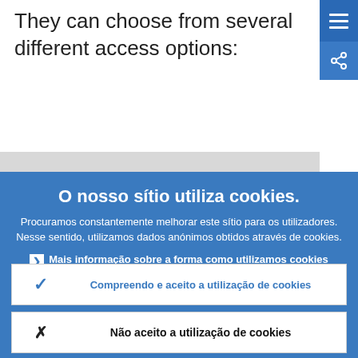They can choose from several different access options:
[Figure (screenshot): Blue menu button with three horizontal white lines (hamburger icon) in top right corner]
[Figure (screenshot): Blue share button with share icon below menu button]
O nosso sítio utiliza cookies.
Procuramos constantemente melhorar este sítio para os utilizadores. Nesse sentido, utilizamos dados anónimos obtidos através de cookies.
Mais informação sobre a forma como utilizamos cookies
Compreendo e aceito a utilização de cookies
Não aceito a utilização de cookies